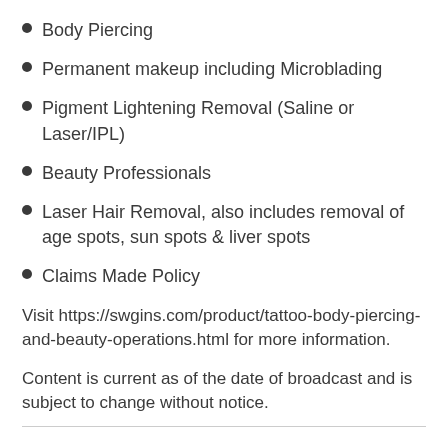Body Piercing
Permanent makeup including Microblading
Pigment Lightening Removal (Saline or Laser/IPL)
Beauty Professionals
Laser Hair Removal, also includes removal of age spots, sun spots & liver spots
Claims Made Policy
Visit https://swgins.com/product/tattoo-body-piercing-and-beauty-operations.html for more information.
Content is current as of the date of broadcast and is subject to change without notice.